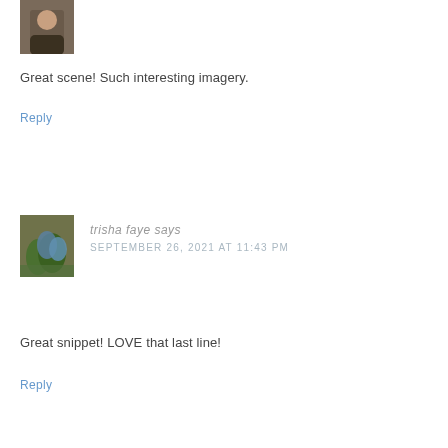[Figure (photo): Top portion of a person's avatar/profile photo, partially visible at the top of the page]
Great scene! Such interesting imagery.
Reply
[Figure (photo): Profile photo of trisha faye showing bluebonnets/blue flowers in front of a wooden structure]
trisha faye says
SEPTEMBER 26, 2021 AT 11:43 PM
Great snippet! LOVE that last line!
Reply